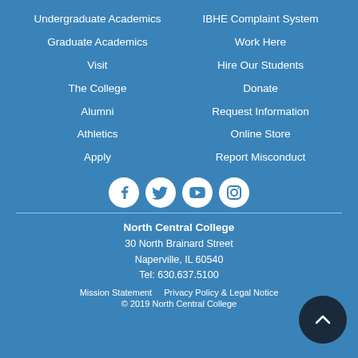Undergraduate Academics
IBHE Complaint System
Graduate Academics
Work Here
Visit
Hire Our Students
The College
Donate
Alumni
Request Information
Athletics
Online Store
Apply
Report Misconduct
[Figure (infographic): Social media icons: Facebook, Twitter, YouTube, Instagram]
North Central College
30 North Brainard Street
Naperville, IL 60540
Tel: 630.637.5100
Mission Statement   Privacy Policy & Legal Notice
© 2019 North Central College